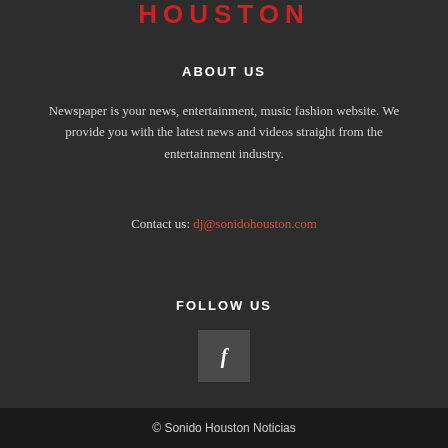HOUSTON
ABOUT US
Newspaper is your news, entertainment, music fashion website. We provide you with the latest news and videos straight from the entertainment industry.
Contact us: dj@sonidohouston.com
FOLLOW US
[Figure (illustration): Facebook icon button - dark grey square with white italic letter f]
© Sonido Houston Noticias